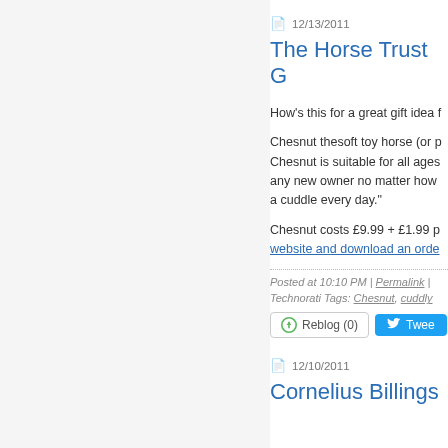12/13/2011
The Horse Trust G
How's this for a great gift idea f
Chesnut thesoft toy horse (or p Chesnut is suitable for all ages any new owner no matter how a cuddle every day."
Chesnut costs £9.99 + £1.99 p website and download an orde
Posted at 10:10 PM | Permalink |
Technorati Tags: Chesnut, cuddly
Reblog (0)  Twee
12/10/2011
Cornelius Billings